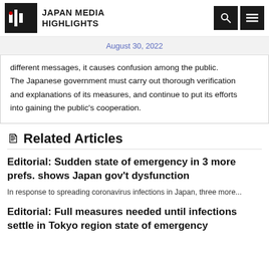JMH JAPAN MEDIA HIGHLIGHTS
August 30, 2022
different messages, it causes confusion among the public. The Japanese government must carry out thorough verification and explanations of its measures, and continue to put its efforts into gaining the public's cooperation.
Related Articles
Editorial: Sudden state of emergency in 3 more prefs. shows Japan gov't dysfunction
In response to spreading coronavirus infections in Japan, three more...
Editorial: Full measures needed until infections settle in Tokyo region state of emergency